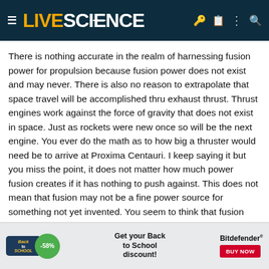LIVESCIENCE
There is nothing accurate in the realm of harnessing fusion power for propulsion because fusion power does not exist and may never. There is also no reason to extrapolate that space travel will be accomplished thru exhaust thrust. Thrust engines work against the force of gravity that does not exist in space. Just as rockets were new once so will be the next engine. You ever do the math as to how big a thruster would need be to arrive at Proxima Centauri. I keep saying it but you miss the point, it does not matter how much power fusion creates if it has nothing to push against. This does not mean that fusion may not be a fine power source for something not yet invented. You seem to think that fusion would be an engine, it's not just as a reactor is not an engine, just fuel for the engines
[Figure (other): Advertisement banner for Bitdefender Back to School discount, -58% off, with buy now button]